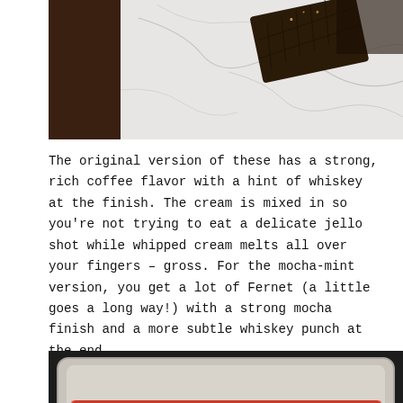[Figure (photo): Top-down photo of a chocolate bar on a white marble surface with dark wood visible at left edge]
The original version of these has a strong, rich coffee flavor with a hint of whiskey at the finish. The cream is mixed in so you're not trying to eat a delicate jello shot while whipped cream melts all over your fingers – gross. For the mocha-mint version, you get a lot of Fernet (a little goes a long way!) with a strong mocha finish and a more subtle whiskey punch at the end.
[Figure (photo): Overhead view of a red silicone round-cavity mold placed on a metal baking sheet, with tan/caramel colored liquid filled in the circular cavities]